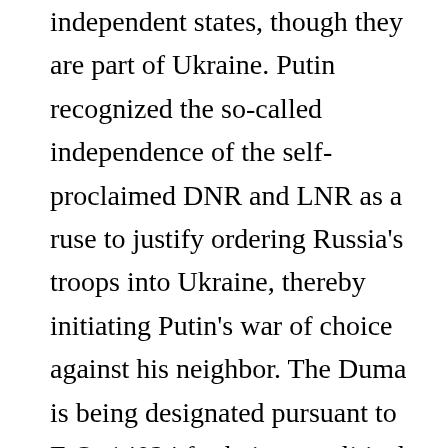independent states, though they are part of Ukraine. Putin recognized the so-called independence of the self-proclaimed DNR and LNR as a ruse to justify ordering Russia's troops into Ukraine, thereby initiating Putin's war of choice against his neighbor. The Duma is being designated pursuant to E.O. 14024 for being a political subdivision, agency, or instrumentality of the GoR.

In addition, OFAC is designating 328 members of the Duma pursuant to E.O. 14024